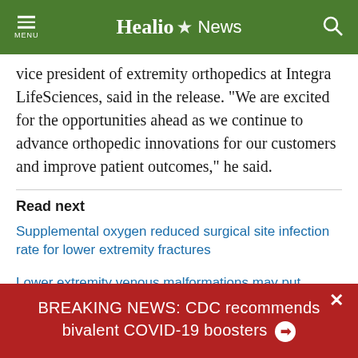Healio News
vice president of extremity orthopedics at Integra LifeSciences, said in the release. “We are excited for the opportunities ahead as we continue to advance orthopedic innovations for our customers and improve patient outcomes,” he said.
Read next
Supplemental oxygen reduced surgical site infection rate for lower extremity fractures
Lower extremity venous malformations may put patients at risk for intra-articular subtype
BREAKING NEWS: CDC recommends bivalent COVID-19 boosters